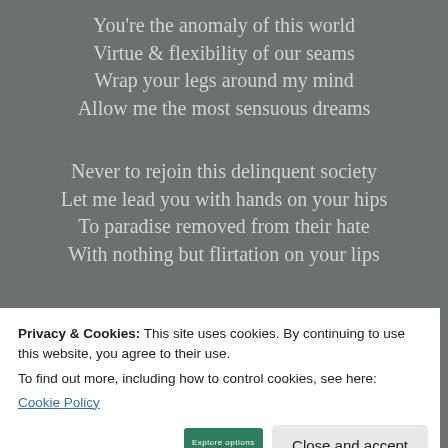You're the anomaly of this world
Virtue & flexibility of our seams
Wrap your legs around my mind
Allow me the most sensuous dreams
Never to rejoin this delinquent society
Let me lead you with hands on your hips
To paradise removed from their hate
With nothing but flirtation on your lips
Advertisements
Privacy & Cookies: This site uses cookies. By continuing to use this website, you agree to their use.
To find out more, including how to control cookies, see here:
Cookie Policy
Close and accept
Explore options